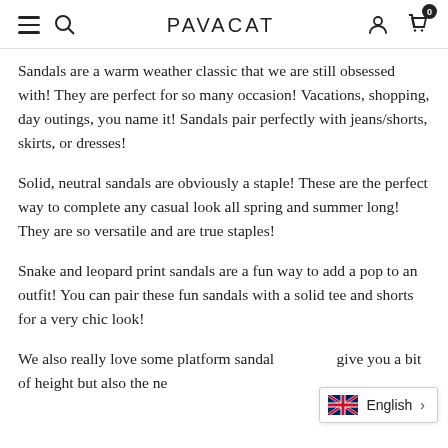PAVACAT
Sandals are a warm weather classic that we are still obsessed with! They are perfect for so many occasion! Vacations, shopping, day outings, you name it! Sandals pair perfectly with jeans/shorts, skirts, or dresses!
Solid, neutral sandals are obviously a staple! These are the perfect way to complete any casual look all spring and summer long! They are so versatile and are true staples!
Snake and leopard print sandals are a fun way to add a pop to an outfit! You can pair these fun sandals with a solid tee and shorts for a very chic look!
We also really love some platform sandal give you a bit of height but also the ne...